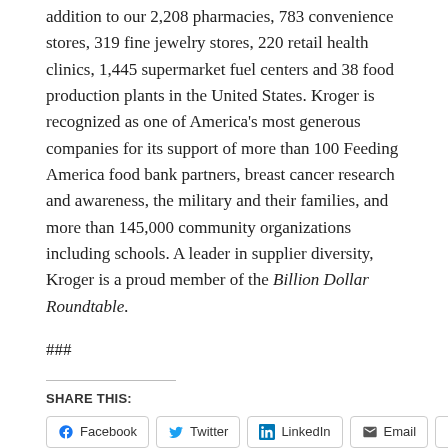addition to our 2,208 pharmacies, 783 convenience stores, 319 fine jewelry stores, 220 retail health clinics, 1,445 supermarket fuel centers and 38 food production plants in the United States. Kroger is recognized as one of America's most generous companies for its support of more than 100 Feeding America food bank partners, breast cancer research and awareness, the military and their families, and more than 145,000 community organizations including schools. A leader in supplier diversity, Kroger is a proud member of the Billion Dollar Roundtable.
###
SHARE THIS:
Facebook | Twitter | LinkedIn | Email | Print
RELATED